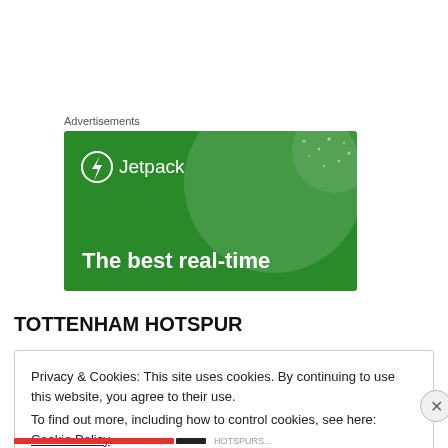Advertisements
[Figure (illustration): Jetpack advertisement banner with green background, large semi-transparent circle, white dot accents, Jetpack logo (lightning bolt in circle) and text 'The best real-time']
TOTTENHAM HOTSPUR
Privacy & Cookies: This site uses cookies. By continuing to use this website, you agree to their use.
To find out more, including how to control cookies, see here: Cookie Policy